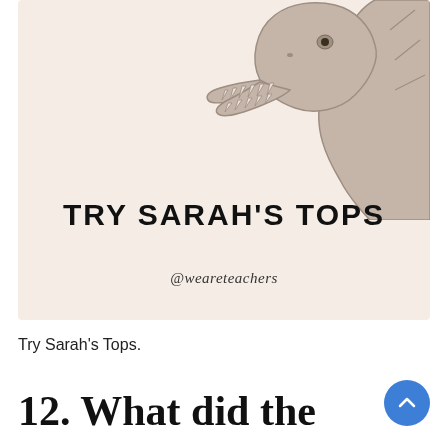[Figure (illustration): A cartoon/line-art illustration of a dinosaur head (T-Rex style) in beige/tan tones on a cream background, with teeth visible and a long neck.]
TRY SARAH'S TOPS
@weareteachers
Try Sarah's Tops.
12. What did the